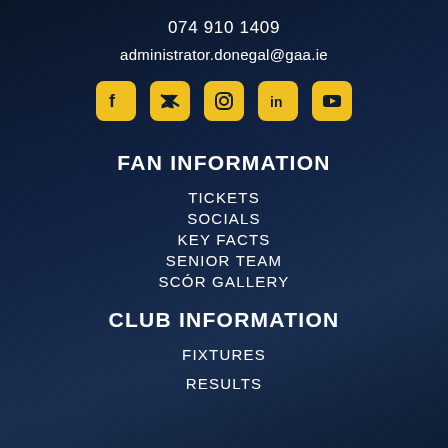074 910 1409
administrator.donegal@gaa.ie
[Figure (infographic): Five social media icons (Facebook, Twitter, Instagram, LinkedIn, YouTube) displayed as yellow rounded square buttons in a horizontal row]
FAN INFORMATION
TICKETS
SOCIALS
KEY FACTS
SENIOR TEAM
SCÓR GALLERY
CLUB INFORMATION
FIXTURES
RESULTS